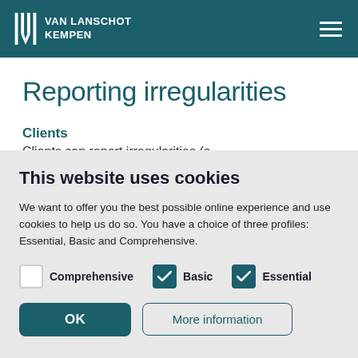VAN LANSCHOT KEMPEN
Reporting irregularities
Clients
Clients can report irregularities (partial, cut off)
This website uses cookies
We want to offer you the best possible online experience and use cookies to help us do so. You have a choice of three profiles: Essential, Basic and Comprehensive.
Comprehensive (unchecked), Basic (checked), Essential (checked)
OK | More information